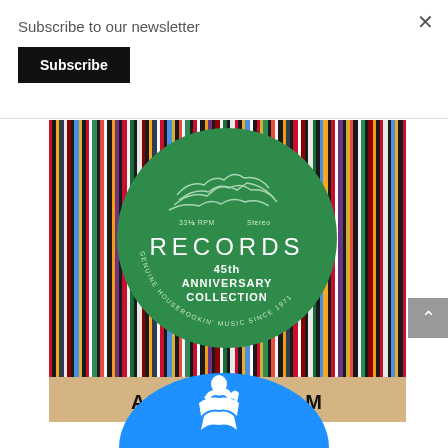Subscribe to our newsletter
Subscribe
[Figure (photo): Alligator Records 45th Anniversary Collection promotional image showing vinyl record spines with a green record label in the center reading RECORDS 45th ANNIVERSARY COLLECTION, GENUINE HOUSEROCKING MUSIC SINCE 1971, and website ALLIGATOR.COM at the bottom]
[Figure (logo): Blue oval logo with white figure illustration, partially visible at bottom of page]